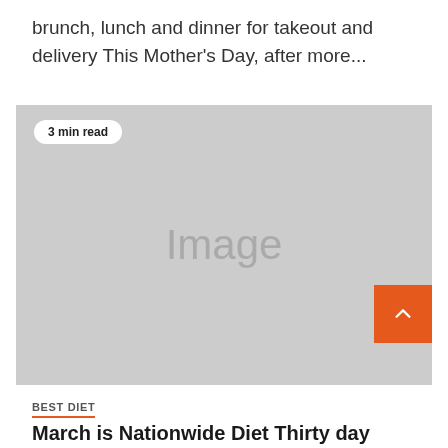brunch, lunch and dinner for takeout and delivery This Mother's Day, after more...
[Figure (photo): Placeholder image with '3 min read' badge in the top-left corner and an orange scroll-to-top button in the bottom-right corner.]
BEST DIET
March is Nationwide Diet Thirty day period